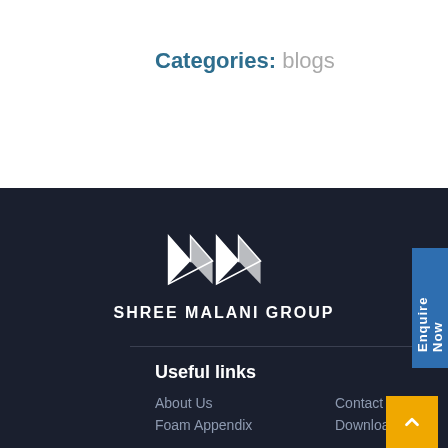Categories: blogs
[Figure (logo): Shree Malani Group logo - white geometric M-shape made of folded triangles/chevrons on dark background, with text SHREE MALANI GROUP below]
Useful links
About Us
Contact Us
Foam Appendix
Download